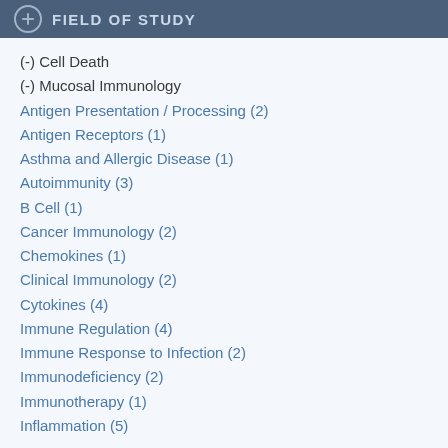FIELD OF STUDY
(-) Cell Death
(-) Mucosal Immunology
Antigen Presentation / Processing (2)
Antigen Receptors (1)
Asthma and Allergic Disease (1)
Autoimmunity (3)
B Cell (1)
Cancer Immunology (2)
Chemokines (1)
Clinical Immunology (2)
Cytokines (4)
Immune Regulation (4)
Immune Response to Infection (2)
Immunodeficiency (2)
Immunotherapy (1)
Inflammation (5)